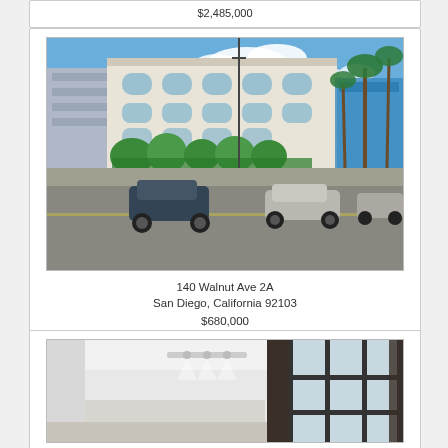$2,485,000
[Figure (photo): Street view of a multi-story white commercial/residential building with arched windows, palm trees, and parked cars in front. Located at 140 Walnut Ave 2A, San Diego, California 92103.]
140 Walnut Ave 2A
San Diego, California 92103
$680,000
[Figure (photo): Interior room photo showing a modern space with white walls, track lighting on ceiling, dark curtains, and floor-to-ceiling windows.]